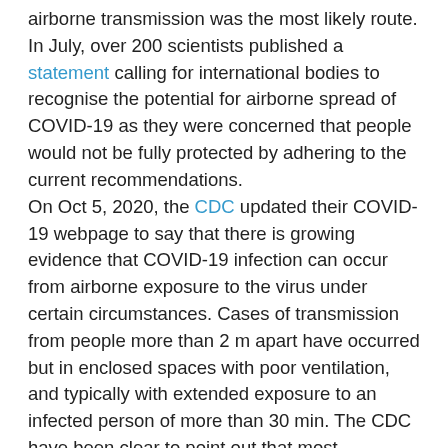airborne transmission was the most likely route. In July, over 200 scientists published a statement calling for international bodies to recognise the potential for airborne spread of COVID-19 as they were concerned that people would not be fully protected by adhering to the current recommendations. On Oct 5, 2020, the CDC updated their COVID-19 webpage to say that there is growing evidence that COVID-19 infection can occur from airborne exposure to the virus under certain circumstances. Cases of transmission from people more than 2 m apart have occurred but in enclosed spaces with poor ventilation, and typically with extended exposure to an infected person of more than 30 min. The CDC have been clear to point out that most infections are spread through close contact and that airborne transmission is not the primary route of transmission.